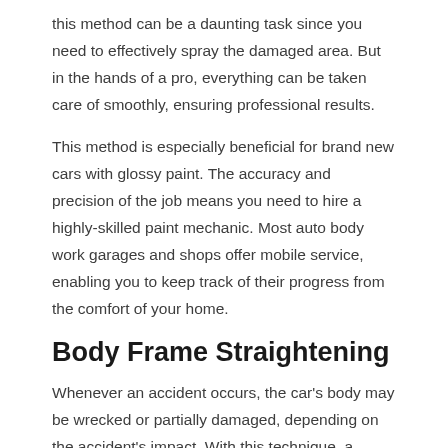this method can be a daunting task since you need to effectively spray the damaged area. But in the hands of a pro, everything can be taken care of smoothly, ensuring professional results.
This method is especially beneficial for brand new cars with glossy paint. The accuracy and precision of the job means you need to hire a highly-skilled paint mechanic. Most auto body work garages and shops offer mobile service, enabling you to keep track of their progress from the comfort of your home.
Body Frame Straightening
Whenever an accident occurs, the car’s body may be wrecked or partially damaged, depending on the accident’s impact. With this technique, a